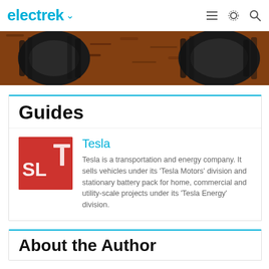electrek
[Figure (photo): Close-up photo of two car tires on reddish-brown mulch/dirt ground]
Guides
[Figure (photo): Red background with white Tesla letters 'SL' and partial Tesla logo]
Tesla
Tesla is a transportation and energy company. It sells vehicles under its 'Tesla Motors' division and stationary battery pack for home, commercial and utility-scale projects under its 'Tesla Energy' division.
About the Author